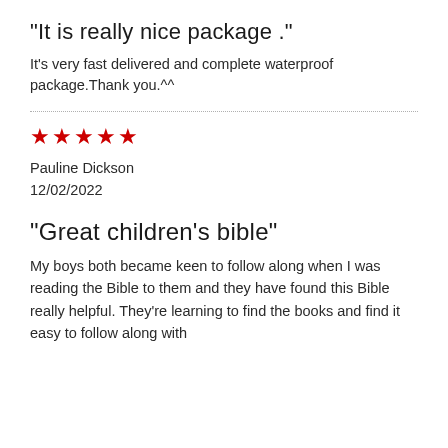“It is really nice package .”
It’s very fast delivered and complete waterproof package.Thank you.^^
★★★★★
Pauline Dickson
12/02/2022
“Great children’s bible”
My boys both became keen to follow along when I was reading the Bible to them and they have found this Bible really helpful. They’re learning to find the books and find it easy to follow along with